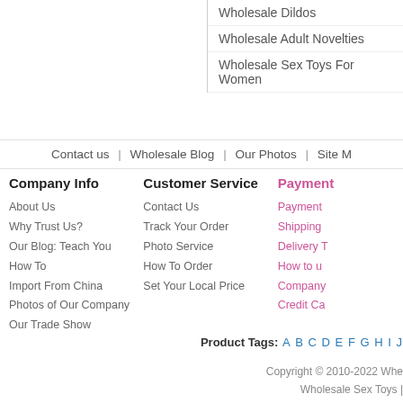Wholesale Dildos
Wholesale Adult Novelties
Wholesale Sex Toys For Women
Contact us | Wholesale Blog | Our Photos | Site M
Company Info
About Us
Why Trust Us?
Our Blog: Teach You How To Import From China
Photos of Our Company
Our Trade Show
Customer Service
Contact Us
Track Your Order
Photo Service
How To Order
Set Your Local Price
Payment
Payment
Shipping
Delivery T
How to u
Company
Credit Ca
Product Tags: A B C D E F G H I J
Copyright © 2010-2022 Whe
Wholesale Sex Toys |